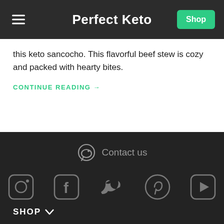Perfect Keto
this keto sancocho. This flavorful beef stew is cozy and packed with hearty bites.
CONTINUE READING →
Contact us
[Figure (infographic): Social media icons row: Instagram, Facebook, Twitter, Pinterest, YouTube]
SHOP